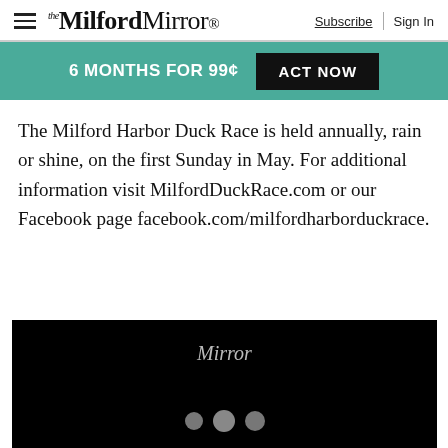the Milford Mirror — Subscribe | Sign In
6 MONTHS FOR 99¢  ACT NOW
The Milford Harbor Duck Race is held annually, rain or shine, on the first Sunday in May. For additional information visit MilfordDuckRace.com or our Facebook page facebook.com/milfordharborduckrace.
[Figure (screenshot): Black video player thumbnail with 'Mirror' text in italic serif font and three gray navigation dots at the bottom center]